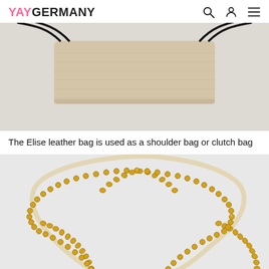YAYGERMANY
[Figure (photo): Close-up photo of a beige/cream textured leather rectangular bag bottom with black drawstring handles on a light grey background]
The Elise leather bag is used as a shoulder bag or clutch bag
[Figure (photo): Close-up photo of a gold chain strap forming an arch/loop shape against a light grey background]